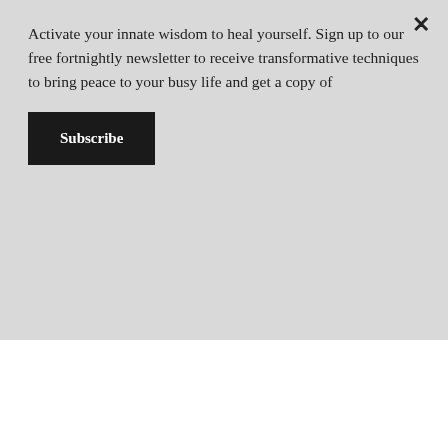Activate your innate wisdom to heal yourself. Sign up to our free fortnightly newsletter to receive transformative techniques to bring peace to your busy life and get a copy of
Subscribe
the endpoints of the meridians on the face and upper torso. You don't have to dwell on painful memories for tapping to work. After a few rounds of tapping, you'll be asked to rate the emotion once more and see where your SUD number is now. The aim is to get the SUD number down to 0.
Aside from being given guidance on how to do the tapping, you'll be given specific exercises to do by yourself after the session.
If you wish to book a series of EFT sessions, a